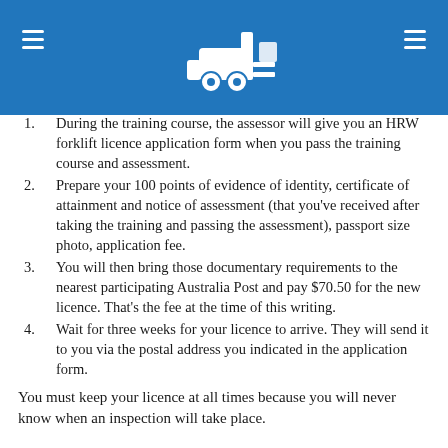Forklift licence information page header with navigation icons
During the training course, the assessor will give you an HRW forklift licence application form when you pass the training course and assessment.
Prepare your 100 points of evidence of identity, certificate of attainment and notice of assessment (that you've received after taking the training and passing the assessment), passport size photo, application fee.
You will then bring those documentary requirements to the nearest participating Australia Post and pay $70.50 for the new licence. That's the fee at the time of this writing.
Wait for three weeks for your licence to arrive. They will send it to you via the postal address you indicated in the application form.
You must keep your licence at all times because you will never know when an inspection will take place.